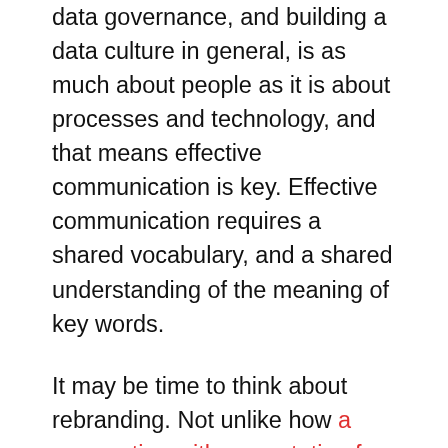data governance, and building a data culture in general, is as much about people as it is about processes and technology, and that means effective communication is key. Effective communication requires a shared vocabulary, and a shared understanding of the meaning of key words.
It may be time to think about rebranding. Not unlike how a corporation with a reputation for all the wrong things might change its name in an effort to leave all those negative connotations behind without really changing its ways, maybe we need to rebrand data governance… at least some of the time.